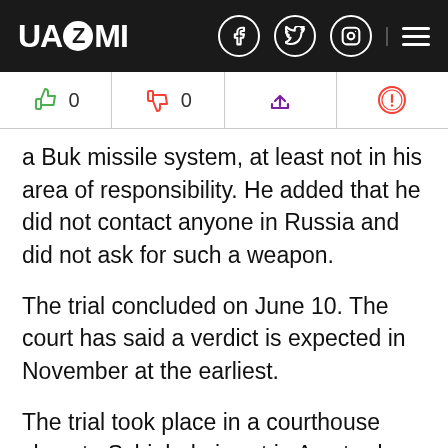UAZMI
[Figure (screenshot): Reaction bar with thumbs up (0), thumbs down (0), share icon, and alert icon]
a Buk missile system, at least not in his area of responsibility. He added that he did not contact anyone in Russia and did not ask for such a weapon.
The trial concluded on June 10. The court has said a verdict is expected in November at the earliest.
The trial took place in a courthouse close to Schiphol airport in Amsterdam from which flight MH17 took off. The other three defendants are Russians Sergei Dubinsky and Igor Girkin as well as Ukrainian Leonid